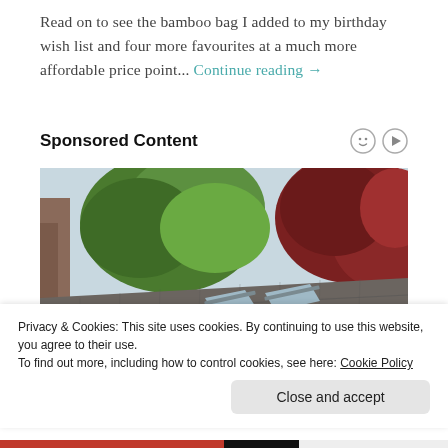Read on to see the bamboo bag I added to my birthday wish list and four more favourites at a much more affordable price point... Continue reading →
Sponsored Content
[Figure (photo): A rooftop with grey asphalt shingles and two skylight windows, surrounded by green and red-leafed trees against a light sky.]
Privacy & Cookies: This site uses cookies. By continuing to use this website, you agree to their use.
To find out more, including how to control cookies, see here: Cookie Policy
Close and accept